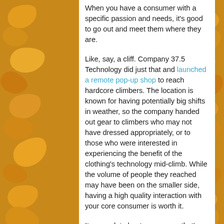[Figure (photo): Background image of golden cornflakes/cereal pieces visible on left and right sides of the page, with a white content column in the center.]
When you have a consumer with a specific passion and needs, it's good to go out and meet them where they are.

Like, say, a cliff. Company 37.5 Technology did just that and launched a remote pop-up shop to reach hardcore climbers. The location is known for having potentially big shifts in weather, so the company handed out gear to climbers who may not have dressed appropriately, or to those who were interested in experiencing the benefit of the clothing's technology mid-climb. While the volume of people they reached may have been on the smaller side, having a high quality interaction with your core consumer is worth it.

It says a lot about a company that's willing to go to new heights to support their consumers' passions and try to help enhance their experience...